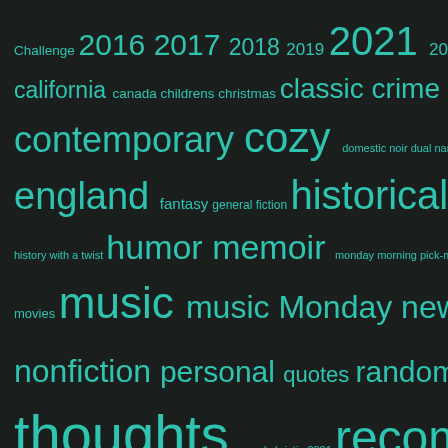[Figure (infographic): Tag cloud / word cloud on a dark background with teal/green text. Tags of varying sizes represent blog categories including: Challenge, 2016, 2017, 2018, 2019, 2021, 2022, audio, california, canada, childrens, christmas, classic, crime, contemporary, cozy, domestic noir, dual narrative, england, fantasy, general fiction, historical fiction, history with a twist, humor, memoir, monday morning pick-me-up, movies, music, music Monday, new york, nonfiction, personal, quotes, random, random thoughts, read christie 2021, recommended, romance, romcom, Scotland Yard, suspense, thriller, time, travel, Top Ten Tuesday, true crime, TV Stuff, young adult]